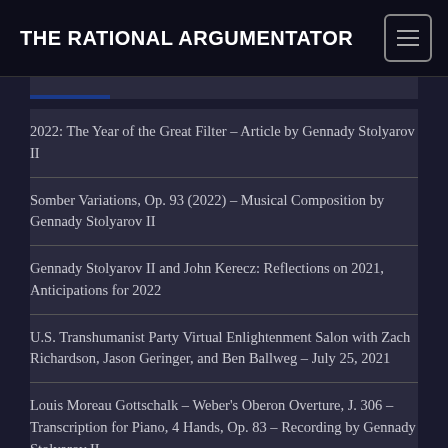THE RATIONAL ARGUMENTATOR
2022: The Year of the Great Filter – Article by Gennady Stolyarov II
Somber Variations, Op. 93 (2022) – Musical Composition by Gennady Stolyarov II
Gennady Stolyarov II and John Kerecz: Reflections on 2021, Anticipations for 2022
U.S. Transhumanist Party Virtual Enlightenment Salon with Zach Richardson, Jason Geringer, and Ben Ballweg – July 25, 2021
Louis Moreau Gottschalk – Weber's Oberon Overture, J. 306 – Transcription for Piano, 4 Hands, Op. 83 – Recording by Gennady Stolyarov II